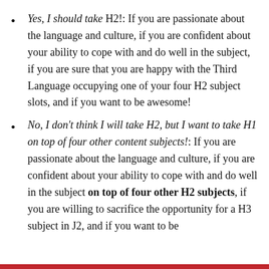Yes, I should take H2!: If you are passionate about the language and culture, if you are confident about your ability to cope with and do well in the subject, if you are sure that you are happy with the Third Language occupying one of your four H2 subject slots, and if you want to be awesome!
No, I don't think I will take H2, but I want to take H1 on top of four other content subjects!: If you are passionate about the language and culture, if you are confident about your ability to cope with and do well in the subject on top of four other H2 subjects, if you are willing to sacrifice the opportunity for a H3 subject in J2, and if you want to be